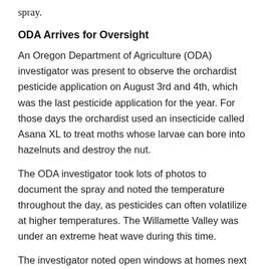spray.
ODA Arrives for Oversight
An Oregon Department of Agriculture (ODA) investigator was present to observe the orchardist pesticide application on August 3rd and 4th, which was the last pesticide application for the year. For those days the orchardist used an insecticide called Asana XL to treat moths whose larvae can bore into hazelnuts and destroy the nut.
The ODA investigator took lots of photos to document the spray and noted the temperature throughout the day, as pesticides can often volatilize at higher temperatures. The Willamette Valley was under an extreme heat wave during this time.
The investigator noted open windows at homes next to the orchard with fans blowing air inside during the spray. The ODA investigator documented barely legible notes by the orchardist that served as two years of pesticide